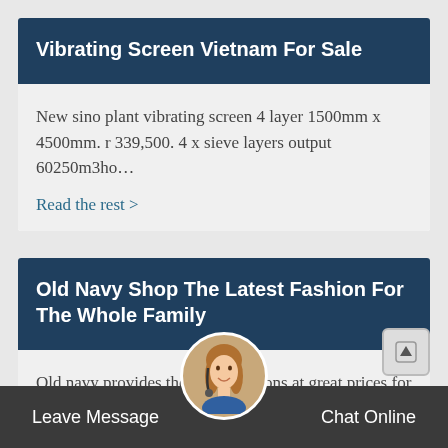Vibrating Screen Vietnam For Sale
New sino plant vibrating screen 4 layer 1500mm x 4500mm. r 339,500. 4 x sieve layers output 60250m3ho…
Read the rest >
Old Navy Shop The Latest Fashion For The Whole Family
Old navy provides the latest fashions at great prices for the whole family. shop mens, womens, womens plus, kids,…
Read the rest >
Leave Message   Chat Online